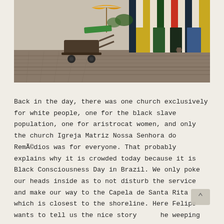[Figure (photo): Street scene with colorful striped doors/facades on the right, a yellow umbrella and green slide/cart in the foreground on a cobblestone street, a person sitting near the doors in the background.]
Back in the day, there was one church exclusively for white people, one for the black slave population, one for aristrocat women, and only the church Igreja Matriz Nossa Senhora do Remédios was for everyone. That probably explains why it is crowded today because it is Black Consciousness Day in Brazil. We only poke our heads inside as to not disturb the service and make our way to the Capela de Santa Rita which is closest to the shoreline. Here Felipe wants to tell us the nice story of the weeping lady (his words, not mine!). It is is a good match in drama to Romeo & Juliet and ends with